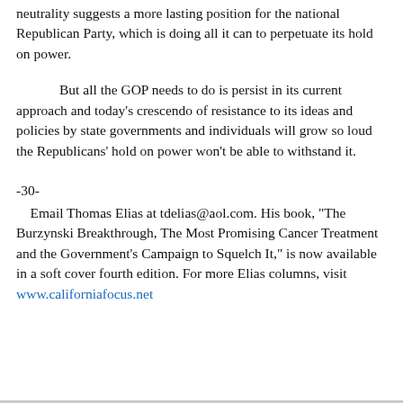neutrality suggests a more lasting position for the national Republican Party, which is doing all it can to perpetuate its hold on power.
But all the GOP needs to do is persist in its current approach and today's crescendo of resistance to its ideas and policies by state governments and individuals will grow so loud the Republicans' hold on power won't be able to withstand it.
-30-
Email Thomas Elias at tdelias@aol.com. His book, "The Burzynski Breakthrough, The Most Promising Cancer Treatment and the Government's Campaign to Squelch It," is now available in a soft cover fourth edition. For more Elias columns, visit www.californiafocus.net